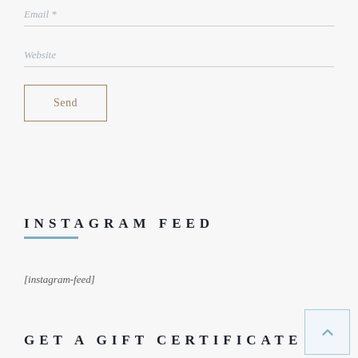Email *
Website
Send
INSTAGRAM FEED
[instagram-feed]
GET A GIFT CERTIFICATE